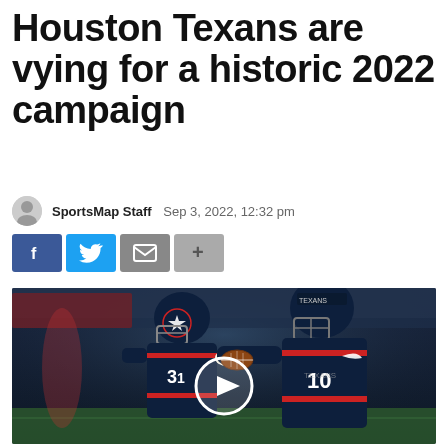Houston Texans are vying for a historic 2022 campaign
SportsMap Staff   Sep 3, 2022, 12:32 pm
[Figure (other): Social media share buttons: Facebook (blue), Twitter (light blue), Email (dark gray), Plus/more (gray)]
[Figure (photo): Two Houston Texans players in dark navy blue helmets and jerseys — a running back wearing #31 receiving a handoff from quarterback #10 — on a football field. A white circular video play button is overlaid in the center of the image.]